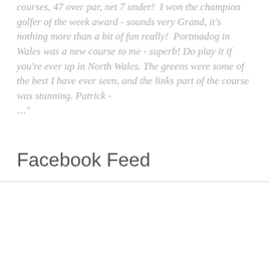courses, 47 over par, net 7 under!  I won the champion golfer of the week award - sounds very Grand, it's nothing more than a bit of fun really!  Portmadog in Wales was a new course to me - superb! Do play it if you're ever up in North Wales. The greens were some of the best I have ever seen, and the links part of the course was stunning. Patrick - …"
Facebook Feed